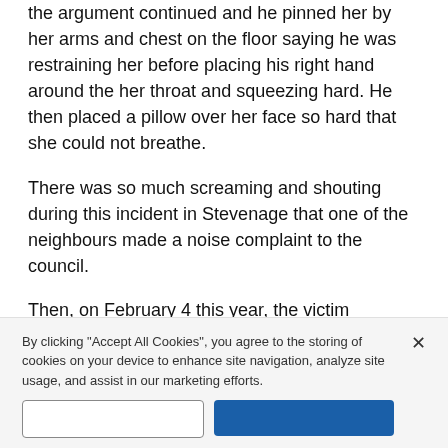the argument continued and he pinned her by her arms and chest on the floor saying he was restraining her before placing his right hand around the her throat and squeezing hard. He then placed a pillow over her face so hard that she could not breathe.
There was so much screaming and shouting during this incident in Stevenage that one of the neighbours made a noise complaint to the council.
Then, on February 4 this year, the victim returned home having stayed away from her address for the weekend as she was scared Pressley would be there.
He came to the door and the victim told him to leave, but it developed into a shouting match and he grabbed
By clicking "Accept All Cookies", you agree to the storing of cookies on your device to enhance site navigation, analyze site usage, and assist in our marketing efforts.